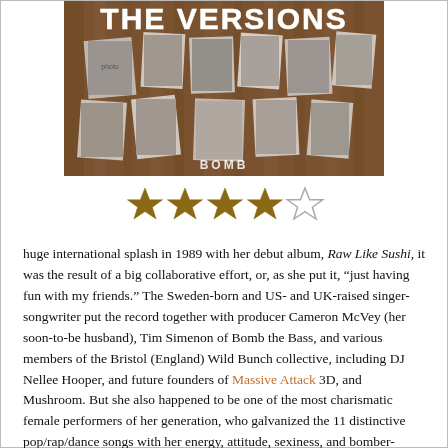[Figure (photo): Album cover for 'The Versions' showing a collage of black-and-white portrait photographs of various people arranged on a wooden background, with large bold text 'THE VERSIONS' at the top and 'BOMB' text visible at bottom.]
[Figure (other): Star rating: 4 out of 5 stars. Four filled dark gold stars and one empty/outline star.]
huge international splash in 1989 with her debut album, Raw Like Sushi, it was the result of a big collaborative effort, or, as she put it, “just having fun with my friends.” The Sweden-born and US- and UK-raised singer-songwriter put the record together with producer Cameron McVey (her soon-to-be husband), Tim Simenon of Bomb the Bass, and various members of the Bristol (England) Wild Bunch collective, including DJ Nellee Hooper, and future founders of Massive Attack 3D, and Mushroom. But she also happened to be one of the most charismatic female performers of her generation, who galvanized the 11 distinctive pop/rap/dance songs with her energy, attitude, sexiness, and bomber-jacket cool, while providing the perfect street-tough antidote to the ubiquitous girl-next-door tweeness of Kylie Minogue. She was central, indeed, to a